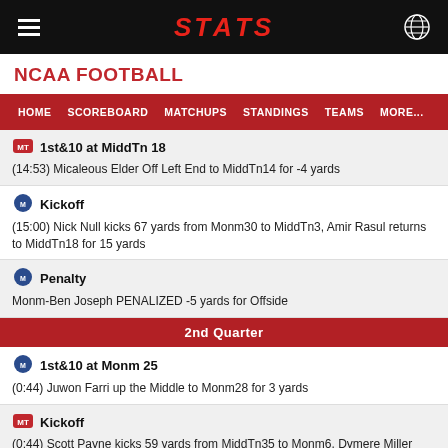STATS
NCAA FOOTBALL
HOME  SCOREBOARD  MATCHUPS  STANDINGS  TEAMS  MORE...
1st&10 at MiddTn 18
(14:53) Micaleous Elder Off Left End to MiddTn14 for -4 yards
Kickoff
(15:00) Nick Null kicks 67 yards from Monm30 to MiddTn3, Amir Rasul returns to MiddTn18 for 15 yards
Penalty
Monm-Ben Joseph PENALIZED -5 yards for Offside
2nd Quarter
1st&10 at Monm 25
(0:44) Juwon Farri up the Middle to Monm28 for 3 yards
Kickoff
(0:44) Scott Payne kicks 59 yards from MiddTn35 to Monm6, Dymere Miller Fair Catch
Extra Point Attempt  MiddTn 21-7